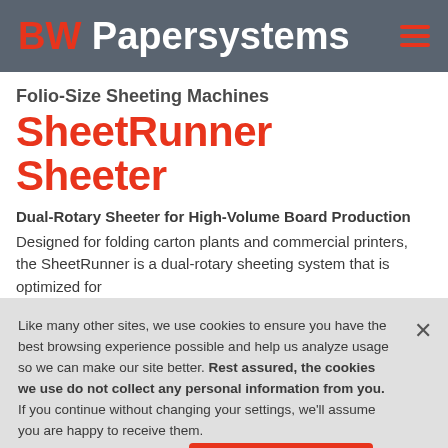BW Papersystems
Folio-Size Sheeting Machines SheetRunner Sheeter
Dual-Rotary Sheeter for High-Volume Board Production
Designed for folding carton plants and commercial printers, the SheetRunner is a dual-rotary sheeting system that is optimized for
Like many other sites, we use cookies to ensure you have the best browsing experience possible and help us analyze usage so we can make our site better. Rest assured, the cookies we use do not collect any personal information from you. If you continue without changing your settings, we'll assume you are happy to receive them.
Cookies Settings
Accept All Cookies